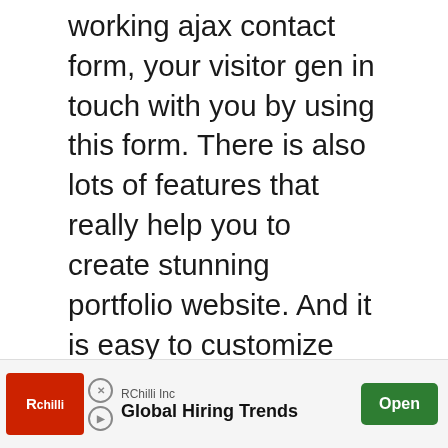working ajax contact form, your visitor gen in touch with you by using this form. There is also lots of features that really help you to create stunning portfolio website. And it is easy to customize and well commented. 30+ popular social icons, Google web fonts, and Google map added with this product.
[/vc_column_text][vc_btn title="Preview" style="outline" shape="square" color="primary" i_icon_fontawesome="fa fa-search" add_icon="true" link="url:https%3A%2F%2Fthemeforest.net%2Fa-vcard-
[Figure (screenshot): Video player overlay showing 'No compatible source was found for this media.' message with gray background]
[Figure (screenshot): reCAPTCHA widget in bottom right]
[Figure (screenshot): Advertisement banner: RChilli Inc - Global Hiring Trends with Open button]